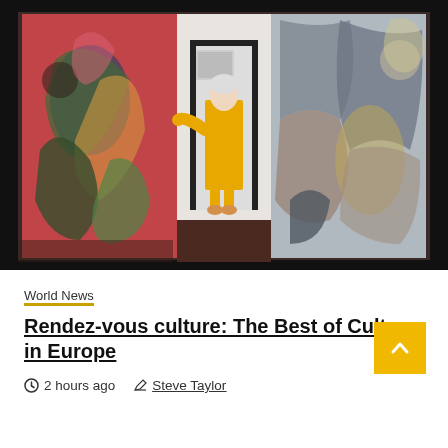[Figure (photo): A woman in a yellow dress standing in a doorway between two large abstract paintings in an art gallery setting.]
World News
Rendez-vous culture: The Best of Culture in Europe
2 hours ago   Steve Taylor